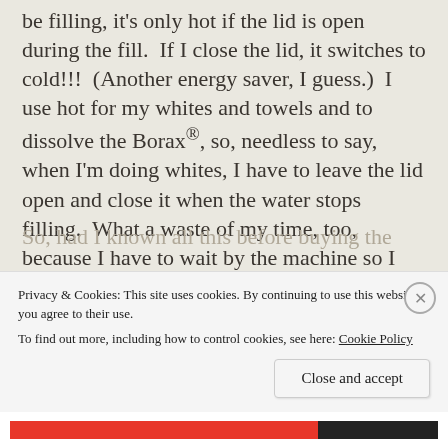be filling, it's only hot if the lid is open during the fill.  If I close the lid, it switches to cold!!!  (Another energy saver, I guess.)  I use hot for my whites and towels and to dissolve the Borax®, so, needless to say, when I'm doing whites, I have to leave the lid open and close it when the water stops filling.  What a waste of my time, too, because I have to wait by the machine so I can close the lid, because if I leave my laundry room, I get into doing something else, and I forget to go back to close it... more wasted time!!!
So, had I known all this before buying the new...
Privacy & Cookies: This site uses cookies. By continuing to use this website, you agree to their use.
To find out more, including how to control cookies, see here: Cookie Policy